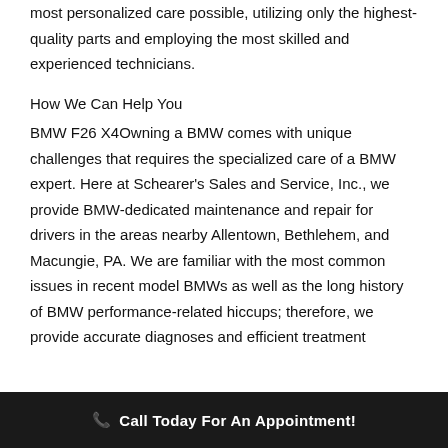most personalized care possible, utilizing only the highest-quality parts and employing the most skilled and experienced technicians.
How We Can Help You
BMW F26 X4Owning a BMW comes with unique challenges that requires the specialized care of a BMW expert. Here at Schearer's Sales and Service, Inc., we provide BMW-dedicated maintenance and repair for drivers in the areas nearby Allentown, Bethlehem, and Macungie, PA. We are familiar with the most common issues in recent model BMWs as well as the long history of BMW performance-related hiccups; therefore, we provide accurate diagnoses and efficient treatment
📞 Call Today For An Appointment!